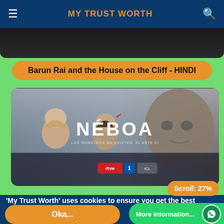MY TRUST WORTH
Barun Rai and the House on the Cliff - HINDI
[Figure (photo): Promotional banner for the TV series NÉBOA showing two women in a dark, foggy setting with a stone face/mask on the right. Logos for RTVE and another broadcaster at the bottom.]
Scroll: 27%
'My Trust Worth' uses cookies to ensure you get the best experience on our website.
Okay
More information...